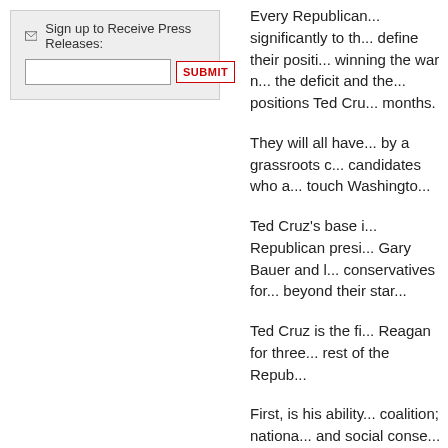Sign up to Receive Press Releases:
Every Republican... significantly to th... define their positi... winning the war n... the deficit and the... positions Ted Cru... months.
They will all have... by a grassroots c... candidates who a... touch Washingto...
Ted Cruz's base i... Republican presi... Gary Bauer and l... conservatives for... beyond their star...
Ted Cruz is the fi... Reagan for three... rest of the Repub...
First, is his ability... coalition; nationa... and social conse... winning conserva... the Tea Party mo...
Others, such as S...